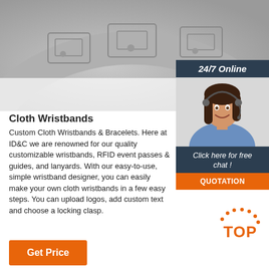[Figure (photo): Gray curved metallic surface with wristband-like product display at top of page]
[Figure (infographic): 24/7 Online chat widget with dark header, photo of smiling woman with headset, 'Click here for free chat!' text, and orange QUOTATION button]
Cloth Wristbands
Custom Cloth Wristbands & Bracelets. Here at ID&C we are renowned for our quality customizable wristbands, RFID event passes & guides, and lanyards. With our easy-to-use, simple wristband designer, you can easily make your own cloth wristbands in a few easy steps. You can upload logos, add custom text and choose a locking clasp.
[Figure (logo): Orange dotted circle with TOP text badge in bottom right area]
Get Price